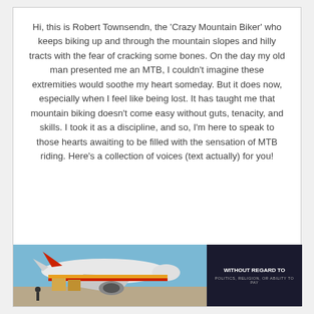Hi, this is Robert Townsendn, the 'Crazy Mountain Biker' who keeps biking up and through the mountain slopes and hilly tracts with the fear of cracking some bones. On the day my old man presented me an MTB, I couldn't imagine these extremities would soothe my heart someday. But it does now, especially when I feel like being lost. It has taught me that mountain biking doesn't come easy without guts, tenacity, and skills. I took it as a discipline, and so, I'm here to speak to those hearts awaiting to be filled with the sensation of MTB riding. Here's a collection of voices (text actually) for you!
[Figure (photo): Advertisement banner image showing an airplane being loaded with cargo, with a dark overlay panel on the right reading 'WITHOUT REGARD TO POLITICS, RELIGION, OR ABILITY TO PAY']